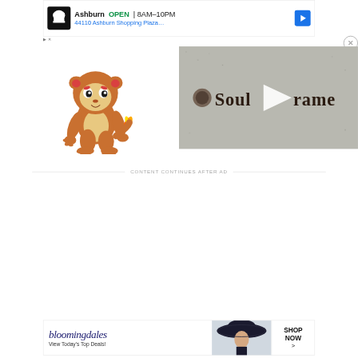[Figure (screenshot): Top banner advertisement for a restaurant in Ashburn showing chef logo, business name 'Ashburn', status 'OPEN', hours '8AM-10PM', address '44110 Ashburn Shopping Plaza...', and a blue directional arrow icon. Small triangular ad controls and X dismiss button visible.]
[Figure (illustration): Chimchar Pokemon character illustration - a small fire monkey Pokemon with brown fur, large ears, and a flame on its tail, standing in a walking pose]
[Figure (screenshot): SoulFrame game thumbnail/video preview with stone-textured background showing the text 'SoulFrame' in gothic/medieval blackletter font with a white play button overlay in the center]
CONTENT CONTINUES AFTER AD
[Figure (screenshot): Bloomingdales advertisement banner showing the Bloomingdales cursive logo, text 'View Today's Top Deals!', a fashion photo of a woman in a wide-brim hat, and a 'SHOP NOW >' button]